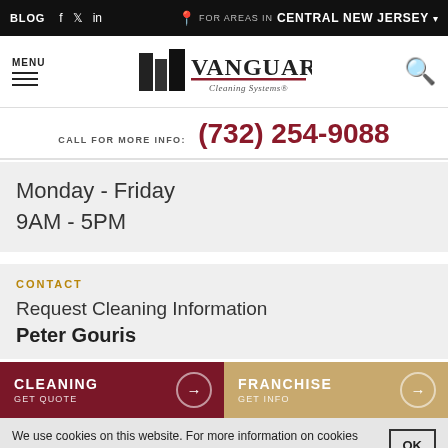BLOG · FOR AREAS IN CENTRAL NEW JERSEY
[Figure (logo): Vanguard Cleaning Systems logo with building icon]
CALL FOR MORE INFO: (732) 254-9088
Monday - Friday
9AM - 5PM
CONTACT
Request Cleaning Information
Peter Gouris
CLEANING GET QUOTE
FRANCHISE GET INFO
We use cookies on this website. For more information on cookies and how we use them, read our privacy policy.